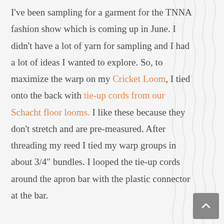I've been sampling for a garment for the TNNA fashion show which is coming up in June. I didn't have a lot of yarn for sampling and I had a lot of ideas I wanted to explore. So, to maximize the warp on my Cricket Loom, I tied onto the back with tie-up cords from our Schacht floor looms. I like these because they don't stretch and are pre-measured. After threading my reed I tied my warp groups in about 3/4″ bundles. I looped the tie-up cords around the apron bar with the plastic connector at the bar.